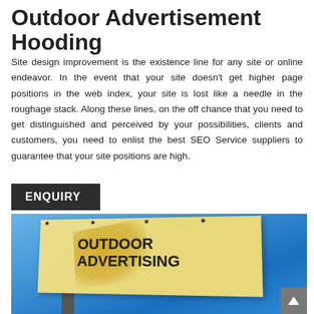Outdoor Advertisement Hooding
Site design improvement is the existence line for any site or online endeavor. In the event that your site doesn't get higher page positions in the web index, your site is lost like a needle in the roughage stack. Along these lines, on the off chance that you need to get distinguished and perceived by your possibilities, clients and customers, you need to enlist the best SEO Service suppliers to guarantee that your site positions are high.
[Figure (other): Dark button/tab labeled ENQUIRY in white bold text on a dark charcoal background]
[Figure (photo): Photo of an outdoor billboard against a blue sky. The billboard panel shows the text OUTDOOR ADVERTISING in large bold black letters on a light yellowish background with yellow brushstroke decoration.]